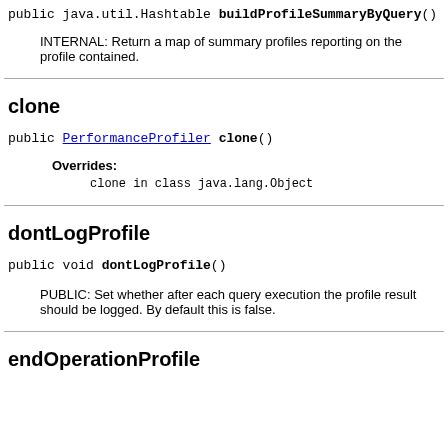public java.util.Hashtable buildProfileSummaryByQuery()
INTERNAL: Return a map of summary profiles reporting on the profile contained.
clone
public PerformanceProfileler clone()
Overrides:
clone in class java.lang.Object
dontLogProfile
public void dontLogProfile()
PUBLIC: Set whether after each query execution the profile result should be logged. By default this is false.
endOperationProfile